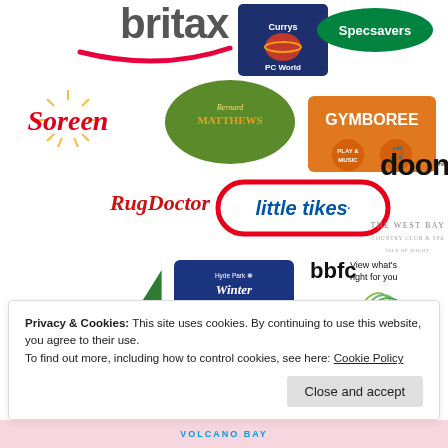[Figure (logo): Grid of brand/sponsor logos: Britax, Currys PC World, Specsavers, Soreen, Bernard Matthews, Doona, Gymboree Play & Music, Rug Doctor, Little Tikes, The West Bay Country Club & Spa, Hyde Park Winter Wonderland, BBFC View what's right for you, The SSE Arena Wembley, Make Believe, CBeebies BBC, YHA, Mifold, SURE, Volcano Bay]
Privacy & Cookies: This site uses cookies. By continuing to use this website, you agree to their use.
To find out more, including how to control cookies, see here: Cookie Policy
Close and accept